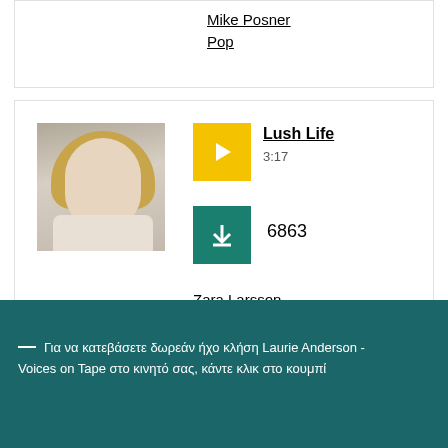Mike Posner
Pop
[Figure (photo): Photo of Zara Larsson, blonde woman in white outfit]
Lush Life
3:17
6863
Zara Larsson
Pop
— Για να κατεβάσετε δωρεάν ήχο κλήση Laurie Anderson - Voices on Tape στο κινητό σας, κάντε κλικ στο κουμπί